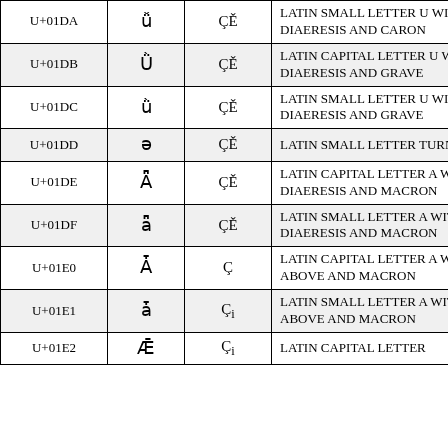| Code | Glyph | Encoding | Name |
| --- | --- | --- | --- |
| U+01DA | ǚ | Çě | LATIN SMALL LETTER U WITH DIAERESIS AND CARON |
| U+01DB | Ǜ | Çě | LATIN CAPITAL LETTER U WITH DIAERESIS AND GRAVE |
| U+01DC | ǜ | Çě | LATIN SMALL LETTER U WITH DIAERESIS AND GRAVE |
| U+01DD | ə | Çě | LATIN SMALL LETTER TURNED E |
| U+01DE | Ǟ | Çě | LATIN CAPITAL LETTER A WITH DIAERESIS AND MACRON |
| U+01DF | ǟ | Çě | LATIN SMALL LETTER A WITH DIAERESIS AND MACRON |
| U+01E0 | Ǡ | Ç | LATIN CAPITAL LETTER A WITH DOT ABOVE AND MACRON |
| U+01E1 | ǡ | Çi | LATIN SMALL LETTER A WITH DOT ABOVE AND MACRON |
| U+01E2 | Ǣ | Çi | LATIN CAPITAL LETTER |